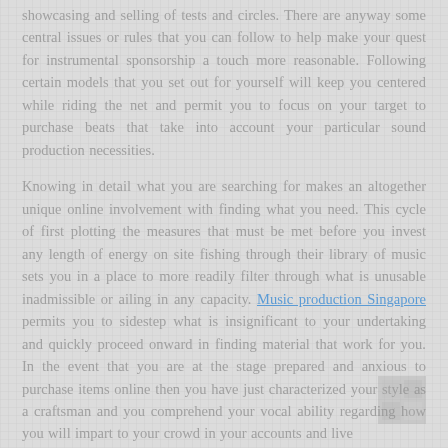showcasing and selling of tests and circles. There are anyway some central issues or rules that you can follow to help make your quest for instrumental sponsorship a touch more reasonable. Following certain models that you set out for yourself will keep you centered while riding the net and permit you to focus on your target to purchase beats that take into account your particular sound production necessities.

Knowing in detail what you are searching for makes an altogether unique online involvement with finding what you need. This cycle of first plotting the measures that must be met before you invest any length of energy on site fishing through their library of music sets you in a place to more readily filter through what is unusable inadmissible or ailing in any capacity. Music production Singapore permits you to sidestep what is insignificant to your undertaking and quickly proceed onward in finding material that work for you. In the event that you are at the stage prepared and anxious to purchase items online then you have just characterized your style as a craftsman and you comprehend your vocal ability regarding how you will impart to your crowd in your accounts and live